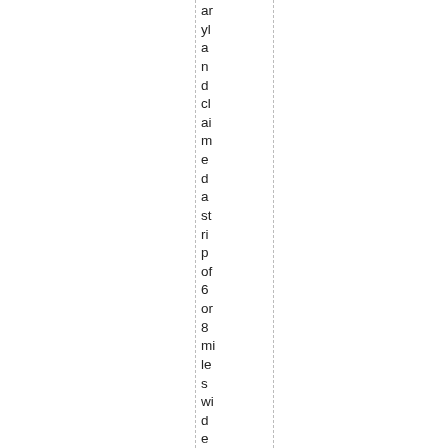aryland claimed a strip of 6 or 8 miles wide over the pres